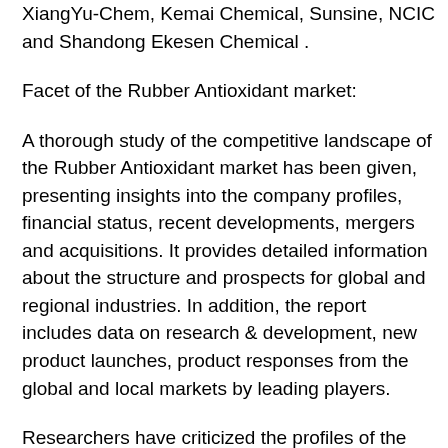XiangYu-Chem, Kemai Chemical, Sunsine, NCIC and Shandong Ekesen Chemical .
Facet of the Rubber Antioxidant market:
A thorough study of the competitive landscape of the Rubber Antioxidant market has been given, presenting insights into the company profiles, financial status, recent developments, mergers and acquisitions. It provides detailed information about the structure and prospects for global and regional industries. In addition, the report includes data on research & development, new product launches, product responses from the global and local markets by leading players.
Researchers have criticized the profiles of the leading competitors functioning in this market in a bid to assess their